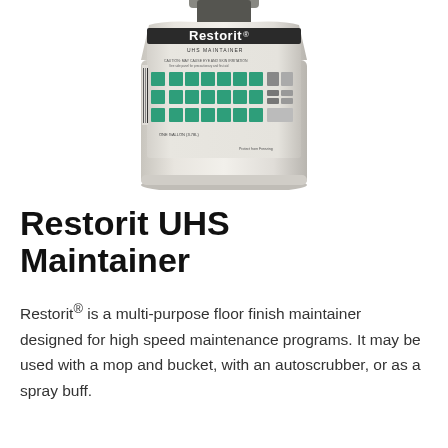[Figure (photo): A one-gallon jug of Restorit UHS Maintainer floor finish product with a white plastic container and a green checkerboard/tile pattern label.]
Restorit UHS Maintainer
Restorit® is a multi-purpose floor finish maintainer designed for high speed maintenance programs. It may be used with a mop and bucket, with an autoscrubber, or as a spray buff.